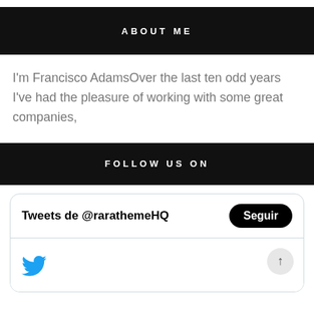ABOUT ME
I'm Francisco AdamsOver the last ten odd years I've had the pleasure of working with some great companies,
FOLLOW US ON
[Figure (screenshot): Twitter widget showing 'Tweets de @rarathemeHQ' with a Seguir (Follow) button, a Twitter bird icon, and a scroll-up button.]